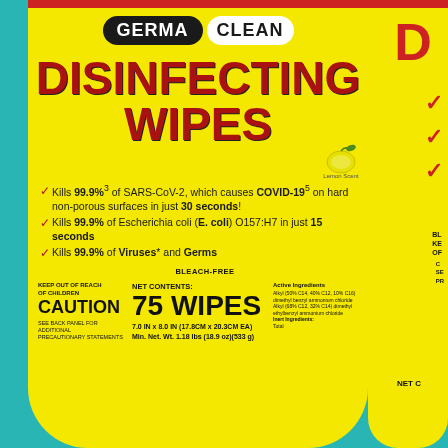[Figure (photo): Germa Clean Disinfecting Wipes canister label on teal background, yellow label with red and dark text, showing brand logo, product name, claims, and product details]
DISINFECTING WIPES
Kills 99.9%3 of SARS-CoV-2, which causes COVID-195 on hard non-porous surfaces in just 30 seconds!
Kills 99.9% of Escherichia coli (E. coli) O157:H7 in just 15 seconds
Kills 99.9% of Viruses* and Germs
BLEACH-FREE
KEEP OUT OF REACH OF CHILDREN CAUTION SEE BACK PANEL FOR ADDITIONAL PRECAUTIONARY STATEMENTS
NET CONTENTS: 75 WIPES 7.0 IN x 8.0 IN (17.8CM x 20.3CM EA) Min. Net. Wt. 1.18 lbs (18.9 oz)(533 g)